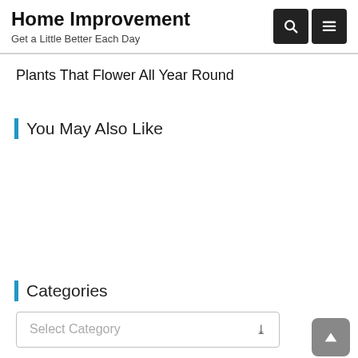Home Improvement
Get a Little Better Each Day
Plants That Flower All Year Round
You May Also Like
Categories
Select Category
Popular Posts